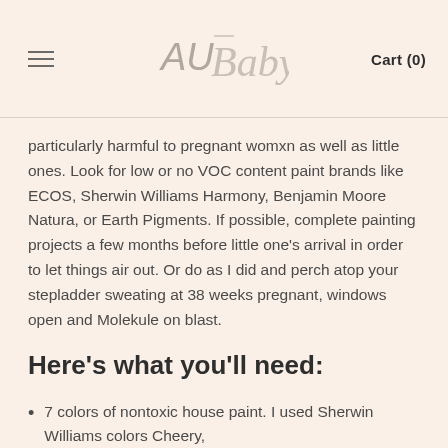AU Baby — Cart (0)
particularly harmful to pregnant womxn as well as little ones. Look for low or no VOC content paint brands like ECOS, Sherwin Williams Harmony, Benjamin Moore Natura, or Earth Pigments. If possible, complete painting projects a few months before little one's arrival in order to let things air out. Or do as I did and perch atop your stepladder sweating at 38 weeks pregnant, windows open and Molekule on blast.
Here's what you'll need:
7 colors of nontoxic house paint. I used Sherwin Williams colors Cheery,